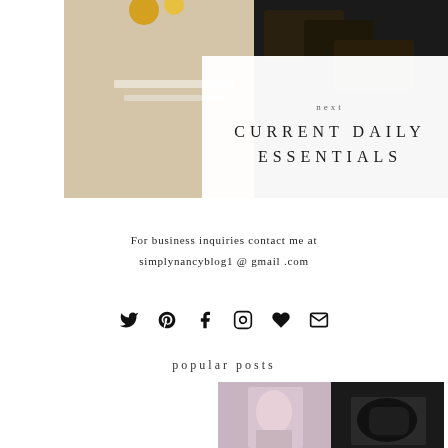[Figure (photo): Photo of product packets on white surface with yellow flowers]
next
CURRENT DAILY ESSENTIALS
For business inquiries contact me at simplynancyblog1 @ gmail .com
[Figure (infographic): Row of social media icons: Twitter, Pinterest, Facebook, Instagram, heart/Bloglovin, email]
popular posts
[Figure (photo): Two popular post thumbnail photos side by side: woman in pink sweater on left, black Prada bag on right]